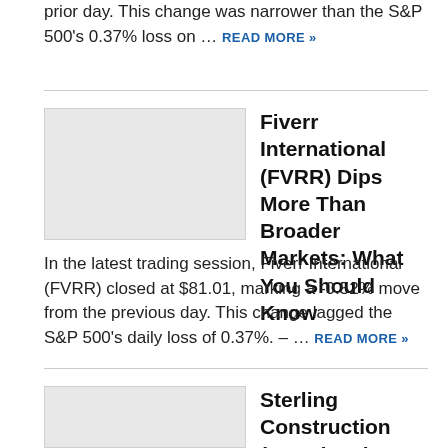prior day. This change was narrower than the S&P 500's 0.37% loss on … READ MORE »
[Figure (photo): Thumbnail placeholder image for Fiverr International article]
Fiverr International (FVRR) Dips More Than Broader Markets: What You Should Know
In the latest trading session, Fiverr International (FVRR) closed at $81.01, marking a -0.52% move from the previous day. This change lagged the S&P 500's daily loss of 0.37%. – … READ MORE »
[Figure (photo): Thumbnail placeholder image for Sterling Construction article]
Sterling Construction (STRL) Gains As Market Dips: What You Should Know
Sterling Construction (STRL) closed at $27.51 in